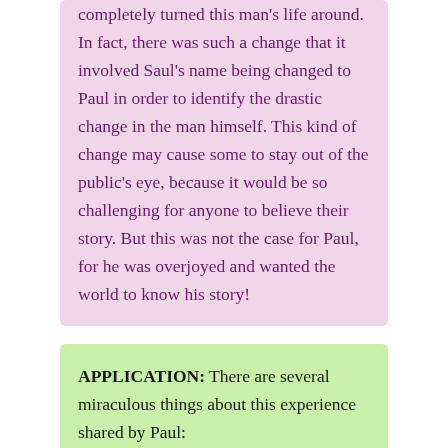completely turned this man's life around. In fact, there was such a change that it involved Saul's name being changed to Paul in order to identify the drastic change in the man himself. This kind of change may cause some to stay out of the public's eye, because it would be so challenging for anyone to believe their story. But this was not the case for Paul, for he was overjoyed and wanted the world to know his story!
APPLICATION: There are several miraculous things about this experience shared by Paul: